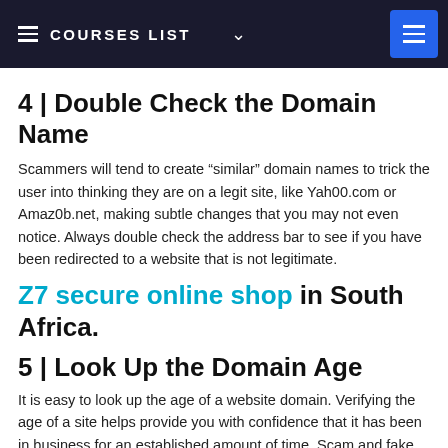COURSES LIST
4 | Double Check the Domain Name
Scammers will tend to create “similar” domain names to trick the user into thinking they are on a legit site, like Yah00.com or Amaz0b.net, making subtle changes that you may not even notice. Always double check the address bar to see if you have been redirected to a website that is not legitimate.
Z7 secure online shop in South Africa.
5 | Look Up the Domain Age
It is easy to look up the age of a website domain. Verifying the age of a site helps provide you with confidence that it has been in business for an established amount of time. Scam and fake sites usually have a short lifespan as they are rooted out